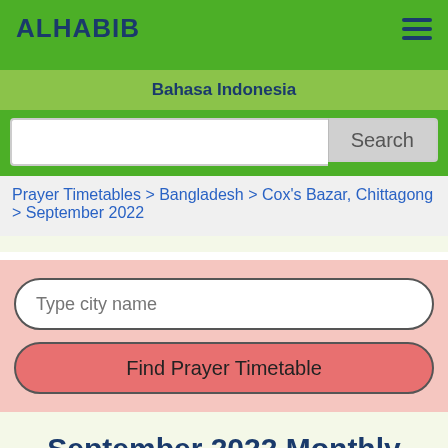ALHABIB
Bahasa Indonesia
Search
Prayer Timetables > Bangladesh > Cox's Bazar, Chittagong > September 2022
Type city name
Find Prayer Timetable
September 2022 Monthly Prayer Timetable (PDF, Excel versions):